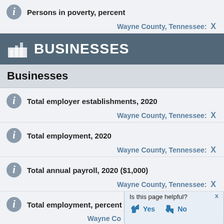Persons in poverty, percent — Wayne County, Tennessee: X
BUSINESSES
Businesses
Total employer establishments, 2020 — Wayne County, Tennessee: X
Total employment, 2020 — Wayne County, Tennessee: X
Total annual payroll, 2020 ($1,000) — Wayne County, Tennessee: X
Total employment, percent ch... — Wayne County, Tennessee: X